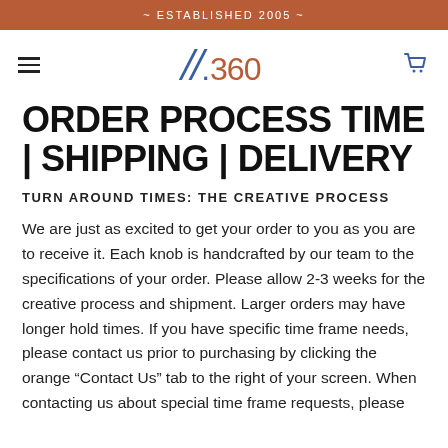~ ESTABLISHED 2005 ~
[Figure (logo): H.360 logo with italic slash and blue/orange coloring, hamburger menu icon on left, shopping cart icon on right]
ORDER PROCESS TIME | SHIPPING | DELIVERY
TURN AROUND TIMES: THE CREATIVE PROCESS
We are just as excited to get your order to you as you are to receive it. Each knob is handcrafted by our team to the specifications of your order. Please allow 2-3 weeks for the creative process and shipment. Larger orders may have longer hold times. If you have specific time frame needs, please contact us prior to purchasing by clicking the orange “Contact Us” tab to the right of your screen. When contacting us about special time frame requests, please